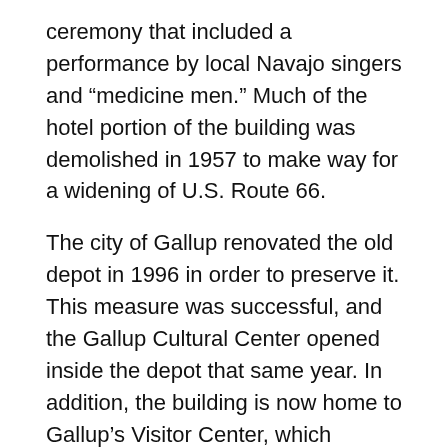ceremony that included a performance by local Navajo singers and “medicine men.” Much of the hotel portion of the building was demolished in 1957 to make way for a widening of U.S. Route 66.
The city of Gallup renovated the old depot in 1996 in order to preserve it. This measure was successful, and the Gallup Cultural Center opened inside the depot that same year. In addition, the building is now home to Gallup’s Visitor Center, which relocated to the station in June of 2004; the Southwest Indian Foundation; the Storyteller Museum and Gallery of the Masters; the Kiva Cinema and a coffee shop.
The area was inhabited for centuries by the